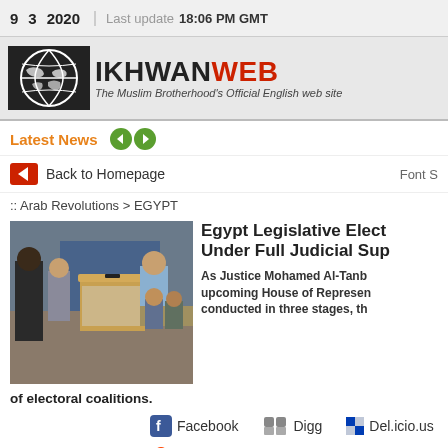9  3  2020  Last update 18:06 PM GMT
[Figure (logo): IkhwanWeb logo with globe graphic. Text: IKHWANWEB - The Muslim Brotherhood's Official English web site]
Latest News
Back to Homepage  Font S
:: Arab Revolutions > EGYPT
[Figure (photo): Photo of people at a polling station with a ballot box in Egypt]
Egypt Legislative Elect Under Full Judicial Sup
As Justice Mohamed Al-Tanb upcoming House of Represen conducted in three stages, th
of electoral coalitions.
Facebook  Digg  Del.icio.us  reddi